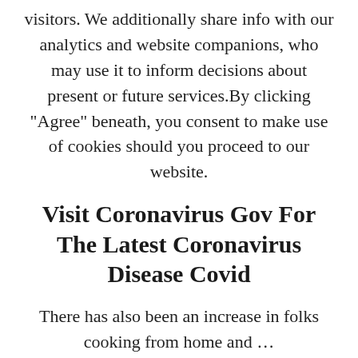visitors. We additionally share info with our analytics and website companions, who may use it to inform decisions about present or future services.By clicking “Agree” beneath, you consent to make use of cookies should you proceed to our website.
Visit Coronavirus Gov For The Latest Coronavirus Disease Covid
There has also been an increase in folks cooking from home and …
Posted in Food Tagged finest, foods, grant, start
Older posts
Search … Search